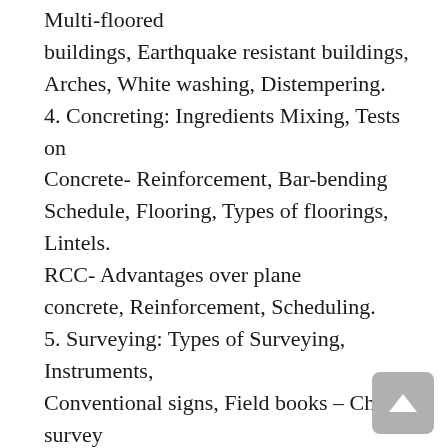Multi-floored buildings, Earthquake resistant buildings, Arches, White washing, Distempering. 4. Concreting: Ingredients Mixing, Tests on Concrete- Reinforcement, Bar-bending Schedule, Flooring, Types of floorings, Lintels. RCC- Advantages over plane concrete, Reinforcement, Scheduling. 5. Surveying: Types of Surveying, Instruments, Conventional signs, Field books – Chain survey – offsets, cross staff survey, locating details, Plotting. Compass survey – bearings, local attraction, declination. Plane tabling -methods, instruments used in plane table survey, Lehman's rule. 6. Levelling and Basics of Modern surveying: Leveling Instruments, Contour plotting